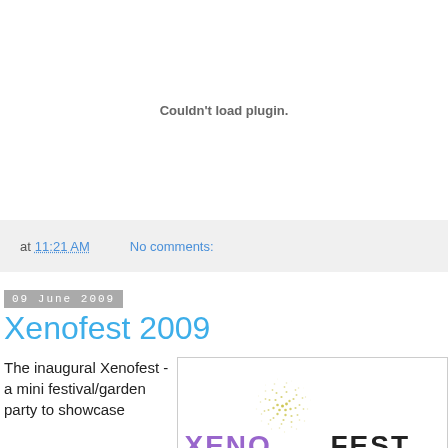Couldn't load plugin.
at 11:21 AM   No comments:
09 June 2009
Xenofest 2009
The inaugural Xenofest - a mini festival/garden party to showcase
[Figure (logo): Xenofest 2009 logo with spiral dot pattern and XENO text in purple, FEST in black]